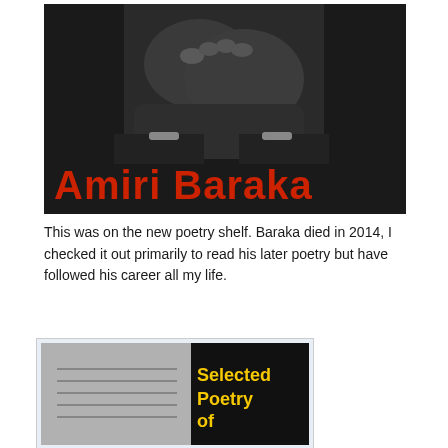[Figure (photo): Black and white photograph of hands clasped together, with large red bold text 'Amiri Baraka' overlaid at the bottom of the image on a dark background.]
This was on the new poetry shelf. Baraka died in 2014, I checked it out primarily to read his later poetry but have followed his career all my life.
[Figure (photo): Partial view of a book cover showing 'Selected Poetry of' in yellow text on a black background, with a black and white photograph visible on the left portion.]